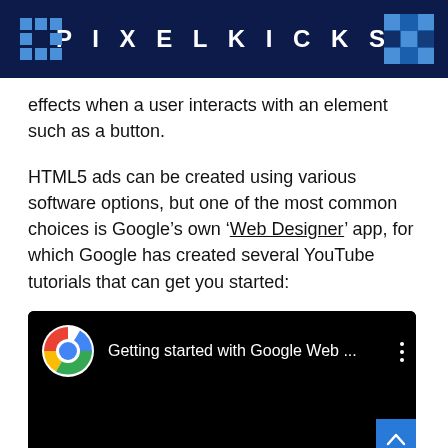PIXELKICKS
effects when a user interacts with an element such as a button.
HTML5 ads can be created using various software options, but one of the most common choices is Google’s own ‘Web Designer’ app, for which Google has created several YouTube tutorials that can get you started:
[Figure (screenshot): YouTube video thumbnail showing 'Getting started with Google Web ...' with Google Chrome logo icon on a black background]